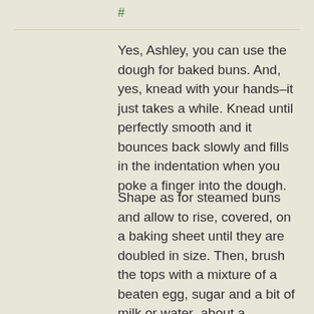#
Yes, Ashley, you can use the dough for baked buns. And, yes, knead with your hands–it just takes a while. Knead until perfectly smooth and it bounces back slowly and fills in the indentation when you poke a finger into the dough.
Shape as for steamed buns and allow to rise, covered, on a baking sheet until they are doubled in size. Then, brush the tops with a mixture of a beaten egg, sugar and a bit of milk or water–about a teaspoon of milk or water and sugar per egg. Beat these together and brush the tops of the buns with the mixture before putting